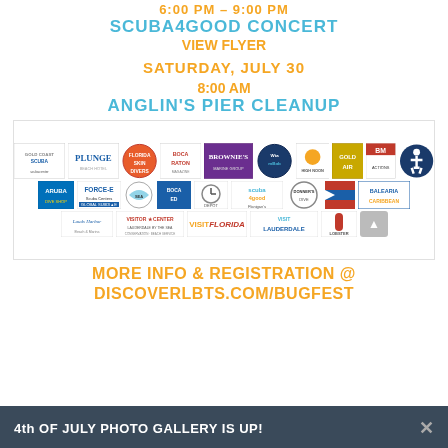6:00 PM – 9:00 PM
SCUBA4GOOD CONCERT
VIEW FLYER
SATURDAY, JULY 30
8:00 AM
ANGLIN'S PIER CLEANUP
[Figure (logo): Sponsor logos including Gold Coast Scuba, Plunge, BatheSea, Force-E Scuba Centers, Global Subdi, Aruba, Florida Skin Divers, Hot Air Balloon, Brownie's, WTamBob, Blue, High Noon, Gold Air, BM, Scuba4Good, Flanigan's, Donner's, Balearia Caribbean, Lands Harbor, Visitor Center Lauderdale by the Sea, VisitFlorida, Visit Lauderdale, Lobster, and an accessibility icon.]
MORE INFO & REGISTRATION @ DISCOVERLBTS.COM/BUGFEST
4th OF JULY PHOTO GALLERY IS UP!